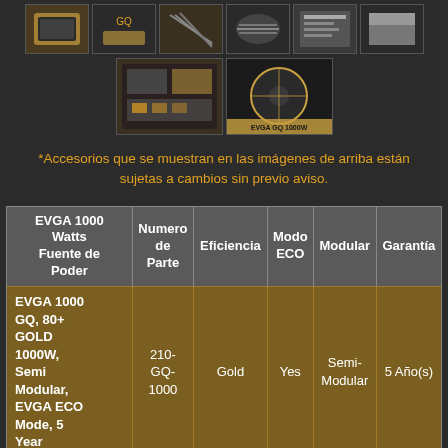[Figure (photo): Row of product thumbnail images for EVGA power supply accessories]
[Figure (photo): Second row of two larger product thumbnail images]
*Accesorios que se muestran en las imágenes de arriba están sujetas a cambios sin previo aviso.
| EVGA 1000 Watts Fuente de Poder | Numero de Parte | Eficiencia | Modo ECO | Modular | Garantía |
| --- | --- | --- | --- | --- | --- |
| EVGA 1000 GQ, 80+ GOLD 1000W, Semi Modular, EVGA ECO Mode, 5 Year | 210-GQ-1000 | Gold | Yes | Semi-Modular | 5 Año(s) |